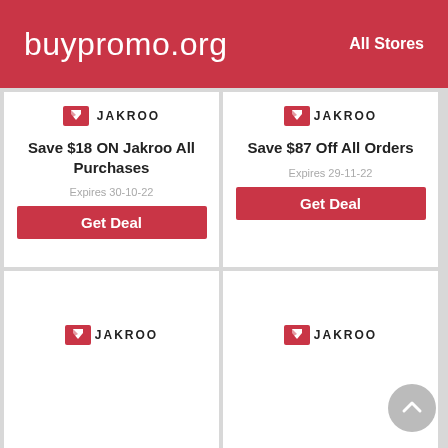buypromo.org   All Stores
[Figure (logo): Jakroo logo on first top-left coupon card]
Save $18 ON Jakroo All Purchases
Expires 30-10-22
Get Deal
[Figure (logo): Jakroo logo on second top-right coupon card]
Save $87 Off All Orders
Expires 29-11-22
Get Deal
[Figure (logo): Jakroo logo on third bottom-left coupon card]
[Figure (logo): Jakroo logo on fourth bottom-right coupon card]